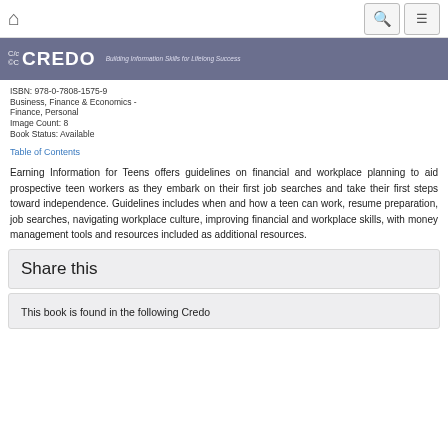Credo navigation bar with home icon, search icon, and menu icon
[Figure (logo): Credo logo banner - purple/slate background with CC logo mark and CREDO wordmark in white, tagline: Building Information Skills for Lifelong Success]
ISBN: 978-0-7808-1575-9
Business, Finance & Economics - Finance, Personal
Image Count: 8
Book Status: Available
Table of Contents
Earning Information for Teens offers guidelines on financial and workplace planning to aid prospective teen workers as they embark on their first job searches and take their first steps toward independence. Guidelines includes when and how a teen can work, resume preparation, job searches, navigating workplace culture, improving financial and workplace skills, with money management tools and resources included as additional resources.
Share this
This book is found in the following Credo